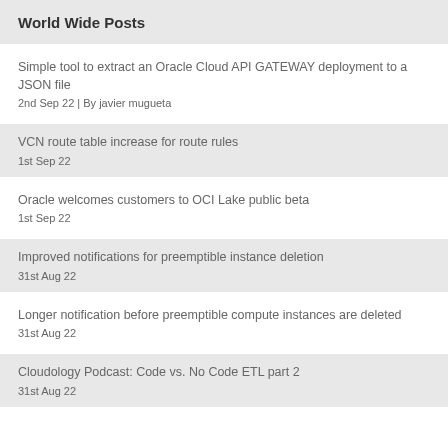World Wide Posts
Simple tool to extract an Oracle Cloud API GATEWAY deployment to a JSON file
2nd Sep 22 | By javier mugueta
VCN route table increase for route rules
1st Sep 22
Oracle welcomes customers to OCI Lake public beta
1st Sep 22
Improved notifications for preemptible instance deletion
31st Aug 22
Longer notification before preemptible compute instances are deleted
31st Aug 22
Cloudology Podcast: Code vs. No Code ETL part 2
31st Aug 22